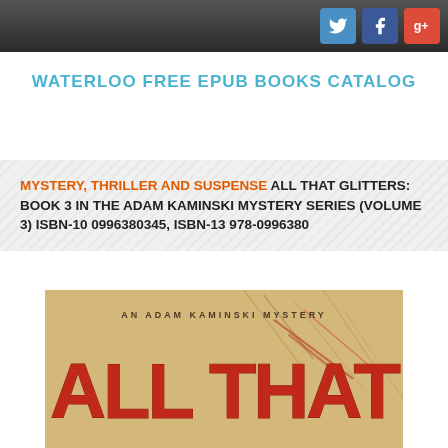WATERLOO FREE EPUB BOOKS CATALOG
MYSTERY, THRILLER AND SUSPENSE ALL THAT GLITTERS: BOOK 3 IN THE ADAM KAMINSKI MYSTERY SERIES (VOLUME 3) ISBN-10 0996380345, ISBN-13 978-0996380
[Figure (photo): Book cover for 'All That Glitters: An Adam Kaminski Mystery', showing large red distressed text 'ALL THAT' on an aged parchment background with scratch marks]